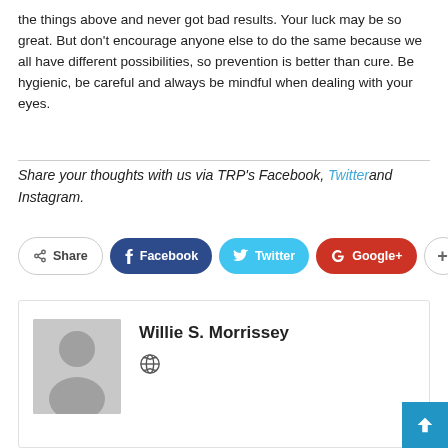the things above and never got bad results. Your luck may be so great. But don't encourage anyone else to do the same because we all have different possibilities, so prevention is better than cure. Be hygienic, be careful and always be mindful when dealing with your eyes.
Share your thoughts with us via TRP's Facebook, Twitter and Instagram.
[Figure (infographic): Share buttons row: Share (outline), Facebook (dark blue), Twitter (light blue), Google+ (red), plus (outline circle)]
[Figure (infographic): Author card for Willie S. Morrissey with gray avatar silhouette placeholder and a world/globe icon below the name]